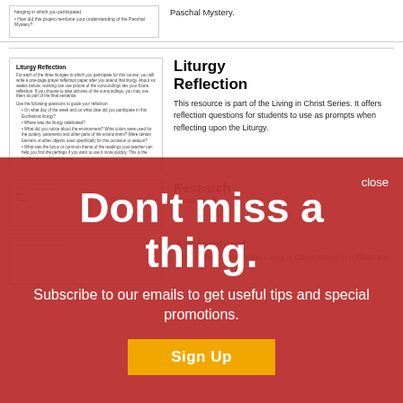Paschal Mystery.
[Figure (screenshot): Small document preview showing 'Liturgy Reflection' worksheet with body text and bullet points]
Liturgy Reflection
This resource is part of the Living in Christ Series. It offers reflection questions for students to use as prompts when reflecting upon the Liturgy.
[Figure (screenshot): Smaller document preview box (lower left, partially visible)]
Research
Honor Work
[Figure (screenshot): Bottom left document preview box, partially visible]
Assignment
This handout is part of the Living in Christ Series. It outlines the
Other important this resource
Don't miss a thing.
Subscribe to our emails to get useful tips and special promotions.
Sign Up
close